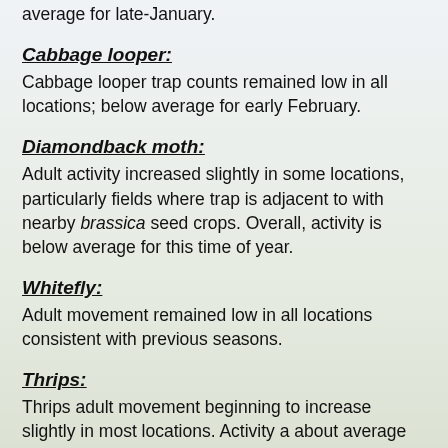average for late-January.
Cabbage looper:
Cabbage looper trap counts remained low in all locations; below average for early February.
Diamondback moth:
Adult activity increased slightly in some locations, particularly fields where trap is adjacent to with nearby brassica seed crops. Overall, activity is below average for this time of year.
Whitefly:
Adult movement remained low in all locations consistent with previous seasons.
Thrips:
Thrips adult movement beginning to increase slightly in most locations. Activity a about average for mid-February.